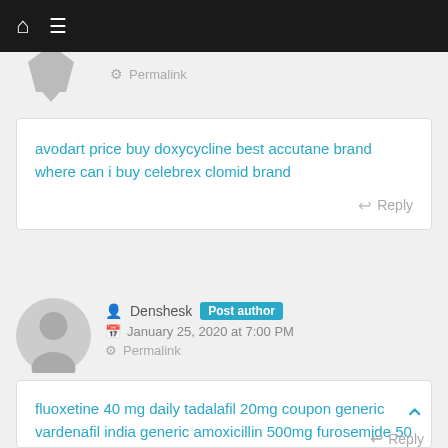Navigation bar with home and menu icons
Permalink
avodart price buy doxycycline best accutane brand where can i buy celebrex clomid brand
Reply
Denshesk Post author
January 25, 2020 at 7:00 PM
Permalink
fluoxetine 40 mg daily tadalafil 20mg coupon generic vardenafil india generic amoxicillin 500mg furosemide 50 mg
Reply